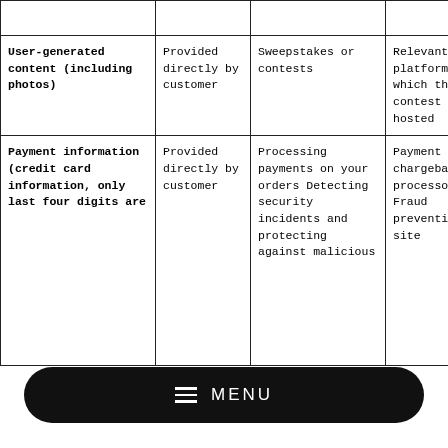|  |  |  |  |
| User-generated content (including photos) | Provided directly by customer | Sweepstakes or contests | Relevant Social platforms in which the contest is hosted |
| Payment information (credit card information, only last four digits are [stored]) | Provided directly by customer | Processing payments on your orders Detecting security incidents and protecting against malicious [acts] | Payment and chargeback processors Fraud prevention and site [security] |